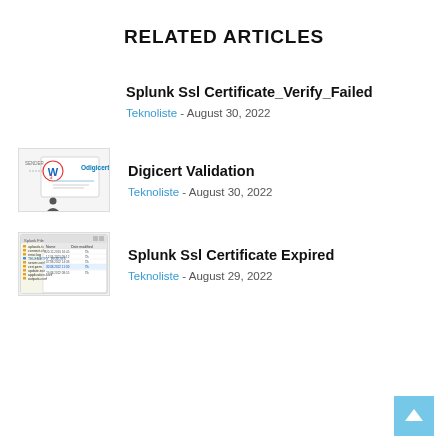RELATED ARTICLES
Splunk Ssl Certificate_Verify_Failed
Teknoliste - August 30, 2022
[Figure (illustration): Thumbnail for Digicert Validation article showing a diagram with a W icon, Digicert logo, and a person silhouette]
Digicert Validation
Teknoliste - August 30, 2022
[Figure (screenshot): Thumbnail showing a file explorer/list screenshot with multiple files listed]
Splunk Ssl Certificate Expired
Teknoliste - August 29, 2022